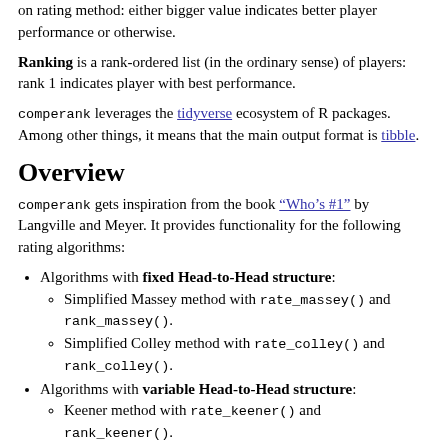on rating method: either bigger value indicates better player performance or otherwise.
Ranking is a rank-ordered list (in the ordinary sense) of players: rank 1 indicates player with best performance.
comperank leverages the tidyverse ecosystem of R packages. Among other things, it means that the main output format is tibble.
Overview
comperank gets inspiration from the book "Who's #1" by Langville and Meyer. It provides functionality for the following rating algorithms:
Algorithms with fixed Head-to-Head structure:
Simplified Massey method with rate_massey() and rank_massey().
Simplified Colley method with rate_colley() and rank_colley().
Algorithms with variable Head-to-Head structure:
Keener method with rate_keener() and rank_keener().
Markov method with rate_markov() and rank_markov().